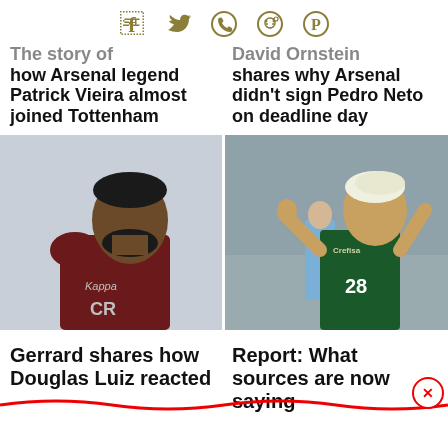[Figure (infographic): Social media sharing icons: Facebook, Twitter, WhatsApp, Reddit, Pinterest in dark gold/olive color]
The story of how Arsenal legend Patrick Vieira almost joined Tottenham
David Ornstein shares why Arsenal didn't sign Pedro Neto on deadline day
[Figure (photo): Football player in dark red/maroon training kit, close-up profile shot against light sky background]
[Figure (photo): Football player wearing green Palmeiras number 28 jersey with blonde/white hair, looking upward with hands raised, referee in blue in background]
Gerrard shares how Douglas Luiz reacted
Report: What sources are now saying